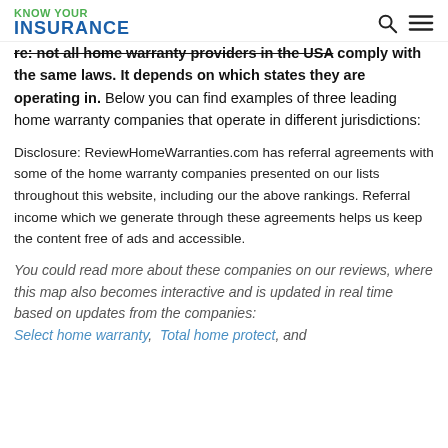KNOW YOUR INSURANCE
re: not all home warranty providers in the USA comply with the same laws. It depends on which states they are operating in. Below you can find examples of three leading home warranty companies that operate in different jurisdictions:
Disclosure: ReviewHomeWarranties.com has referral agreements with some of the home warranty companies presented on our lists throughout this website, including our the above rankings. Referral income which we generate through these agreements helps us keep the content free of ads and accessible.
You could read more about these companies on our reviews, where this map also becomes interactive and is updated in real time based on updates from the companies: Select home warranty, Total home protect, and